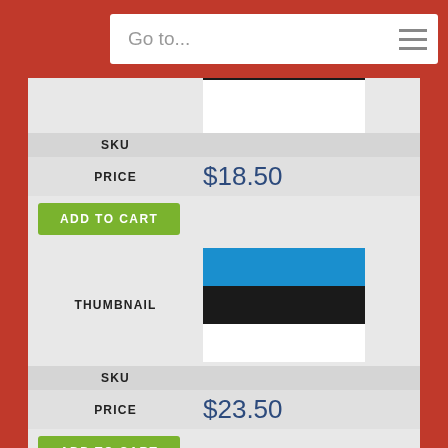Go to...
[Figure (illustration): Estonian flag thumbnail (black and white bands visible, top cropped)]
SKU
PRICE $18.50
ADD TO CART
THUMBNAIL
[Figure (illustration): Estonian flag thumbnail (blue, black, white horizontal bands)]
SKU
PRICE $23.50
ADD TO CART
THUMBNAIL
[Figure (illustration): Estonian flag thumbnail (blue, black, white horizontal bands)]
SKU
PRICE $35.00
ADD TO CART
THUMBNAIL